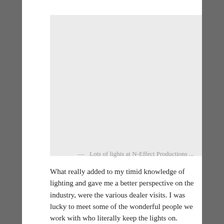[Figure (photo): A large light gray placeholder image representing a photo of lights at N-Effect Productions]
— Lots of lights at N-Effect Productions ...
What really added to my timid knowledge of lighting and gave me a better perspective on the industry, were the various dealer visits. I was lucky to meet some of the wonderful people we work with who literally keep the lights on.